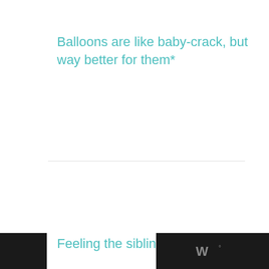Balloons are like baby-crack, but way better for them*
Feeling the sibling love | PSF
[Figure (screenshot): Heart/like button (teal circle with heart icon) and share button (light circle with share icon), plus a 'WHAT'S NEXT' card showing a thumbnail and title 'Our First Family 3D...']
[Figure (screenshot): Bottom navigation bars: black bar on left, black bar on right with white 'W' logo mark]